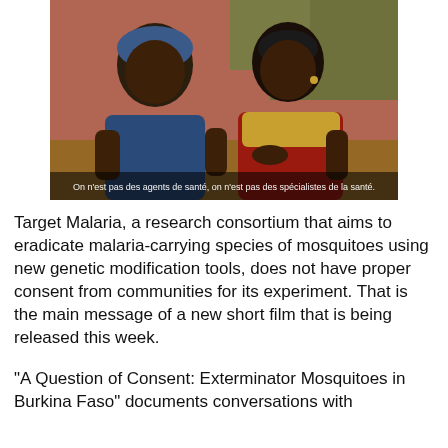[Figure (photo): Two African women sitting side by side outdoors with plants and a pink/orange wall in the background. A subtitle in French reads: 'On n'est pas des agents de santé, on n'est pas des spécialistes de la santé.']
Target Malaria, a research consortium that aims to eradicate malaria-carrying species of mosquitoes using new genetic modification tools, does not have proper consent from communities for its experiment. That is the main message of a new short film that is being released this week.
"A Question of Consent: Exterminator Mosquitoes in Burkina Faso" documents conversations with